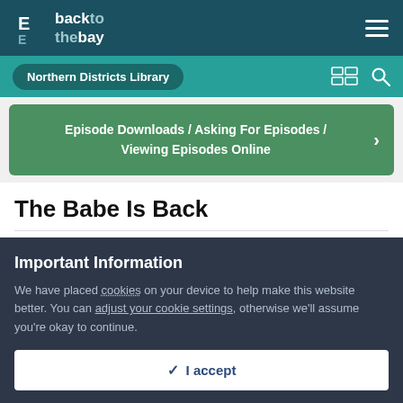back to the bay
Northern Districts Library
Episode Downloads / Asking For Episodes / Viewing Episodes Online
The Babe Is Back
By Guest tessalove,
July 7, 2009 in Northern Districts Library
Important Information
We have placed cookies on your device to help make this website better. You can adjust your cookie settings, otherwise we'll assume you're okay to continue.
✓  I accept